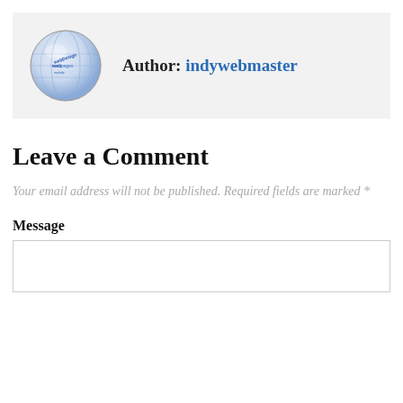[Figure (photo): Globe-shaped logo with blue web design text, circular avatar image for author indywebmaster]
Author: indywebmaster
Leave a Comment
Your email address will not be published. Required fields are marked *
Message